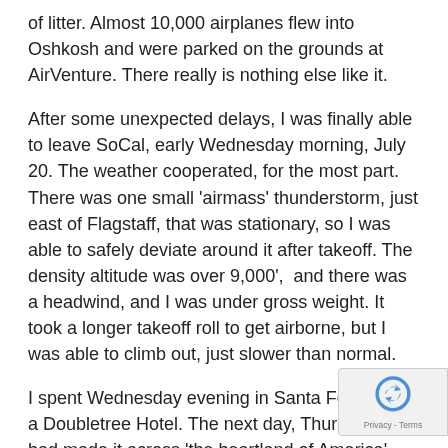of litter. Almost 10,000 airplanes flew into Oshkosh and were parked on the grounds at AirVenture. There really is nothing else like it.
After some unexpected delays, I was finally able to leave SoCal, early Wednesday morning, July 20. The weather cooperated, for the most part. There was one small 'airmass' thunderstorm, just east of Flagstaff, that was stationary, so I was able to safely deviate around it after takeoff. The density altitude was over 9,000',  and there was a headwind, and I was under gross weight. It took a longer takeoff roll to get airborne, but I was able to climb out, just slower than normal.
I spent Wednesday evening in Santa Fe, NM, at a Doubletree Hotel. The next day, Thursday, I had made it across 'the heartland of America', flying northeast across OK/KS/NE and landed in Lincoln, NE for the night. The folks at Duncan Aviation were able to arrange a room me at a Marriott Courtyard Hotel downtown. The thir...